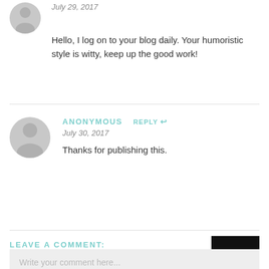July 29, 2017
Hello, I log on to your blog daily. Your humoristic style is witty, keep up the good work!
ANONYMOUS  REPLY
July 30, 2017
Thanks for publishing this.
LEAVE A COMMENT:
Write your comment here...